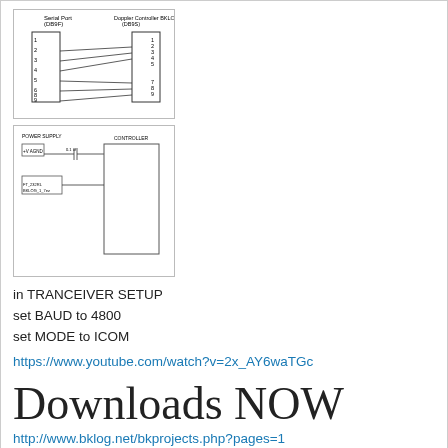[Figure (schematic): Serial port to Doppler Controller BKLOG circuit diagram showing pin connections]
[Figure (schematic): Circuit schematic showing components including ICOM controller connections]
in TRANCEIVER SETUP
set BAUD to 4800
set MODE to ICOM
https://www.youtube.com/watch?v=2x_AY6waTGc
Downloads NOW
http://www.bklog.net/bkprojects.php?pages=1
Quote
NG7E [ 0 ]   (06-08-2020, 11:11 PM )
I've just started using it today below are the listed problems: